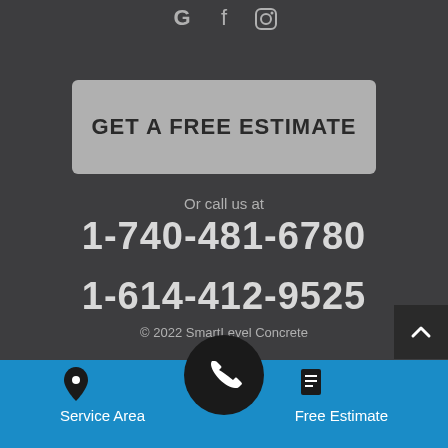[Figure (illustration): Social media icons: Google, Facebook, Instagram at top center]
GET A FREE ESTIMATE
Or call us at
1-740-481-6780
1-614-412-9525
© 2022 SmartLevel Concrete
Service Area
Free Estimate